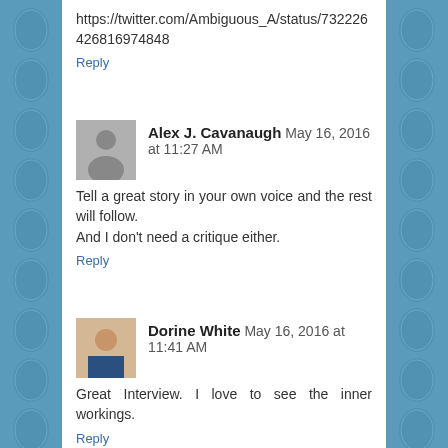https://twitter.com/Ambiguous_A/status/732226426816974848
Reply
Alex J. Cavanaugh May 16, 2016 at 11:27 AM
Tell a great story in your own voice and the rest will follow.
And I don't need a critique either.
Reply
Dorine White May 16, 2016 at 11:41 AM
Great Interview. I love to see the inner workings.
Reply
louisianabook May 16, 2016 at 11:47 AM